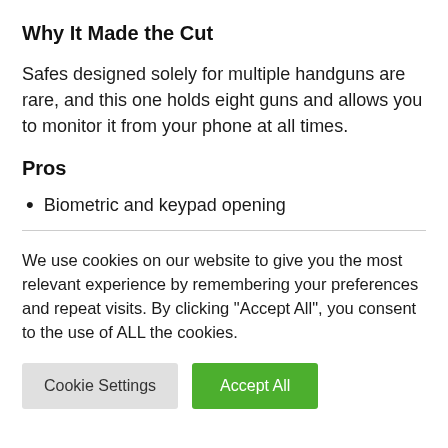Why It Made the Cut
Safes designed solely for multiple handguns are rare, and this one holds eight guns and allows you to monitor it from your phone at all times.
Pros
Biometric and keypad opening
We use cookies on our website to give you the most relevant experience by remembering your preferences and repeat visits. By clicking “Accept All”, you consent to the use of ALL the cookies.